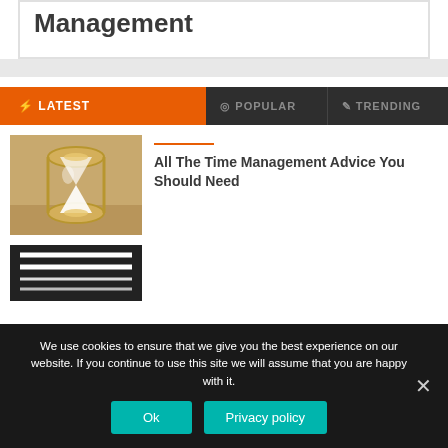Management
⚡ LATEST   ◎ POPULAR   ✎ TRENDING
[Figure (photo): Hourglass with gold frame and white sand on sandy surface]
All The Time Management Advice You Should Need
[Figure (photo): Dark background with white striped object (glasses or headphones)]
We use cookies to ensure that we give you the best experience on our website. If you continue to use this site we will assume that you are happy with it.
Ok   Privacy policy